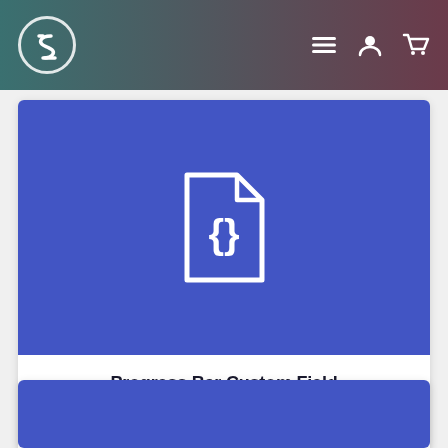Navigation bar with logo and icons
[Figure (screenshot): Blue card banner with a white code/JSON file icon (curly braces inside a document shape)]
Progress Bar Custom Field
A custom field to display Bootstrap progress bars in your Joomla content.
👁 9,389
[Figure (screenshot): Partial blue card banner, bottom of page]